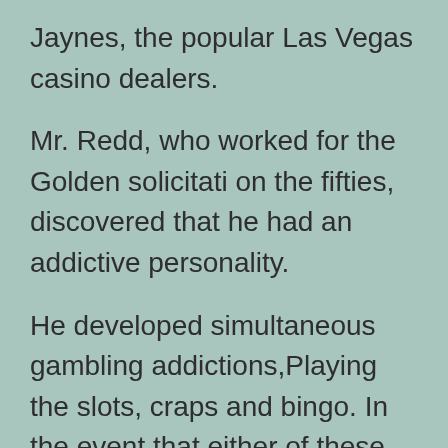Jaynes, the popular Las Vegas casino dealers.
Mr. Redd, who worked for the Golden solicitation the fifties, discovered that he had an addictive personality.
He developed simultaneous gambling addictions,Playing the slots, craps and bingo. In the event that either of these instincts were to carry the day, he would then, quite dramatically, drive to the nearest, and sometimes the most extreme, gambling saloons.
There he would be able to indulge in the